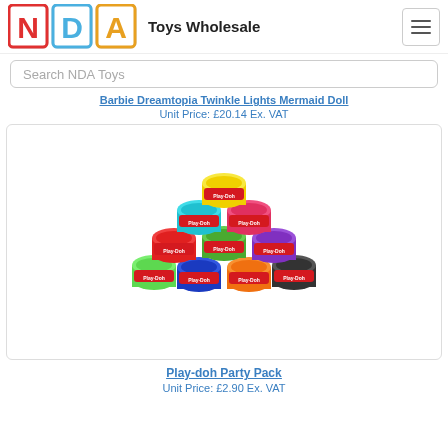Toys Wholesale
Search NDA Toys
Barbie Dreamtopia Twinkle Lights Mermaid Doll
Unit Price: £20.14 Ex. VAT
[Figure (photo): Play-Doh Party Pack: ten colorful Play-Doh cans arranged in a pyramid shape (yellow on top, cyan and pink in second row, red, green, purple in third row, green, blue, orange, black in bottom row)]
Play-doh Party Pack
Unit Price: £2.90 Ex. VAT